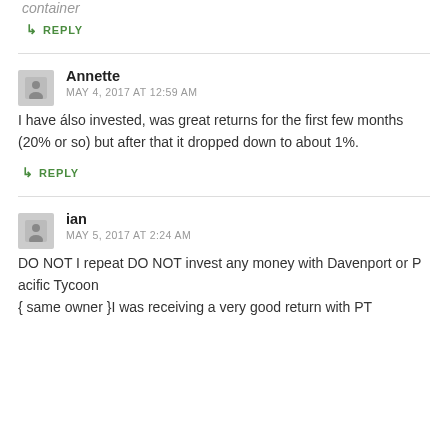container
↳ REPLY
Annette
MAY 4, 2017 AT 12:59 AM
I have álso invested, was great returns for the first few months (20% or so) but after that it dropped down to about 1%.
↳ REPLY
ian
MAY 5, 2017 AT 2:24 AM
DO NOT I repeat DO NOT invest any money with Davenport or P acific Tycoon { same owner }I was receiving a very good return with PT